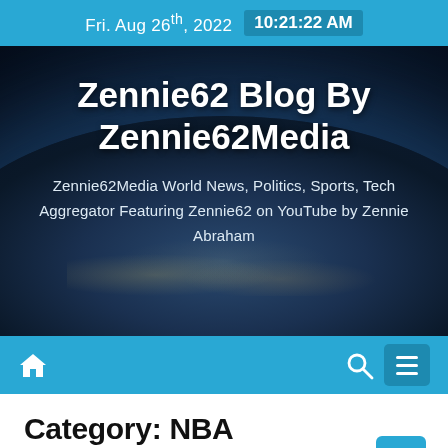Fri. Aug 26th, 2022  10:21:22 AM
Zennie62 Blog By Zennie62Media
Zennie62Media World News, Politics, Sports, Tech Aggregator Featuring Zennie62 on YouTube by Zennie Abraham
Category: NBA